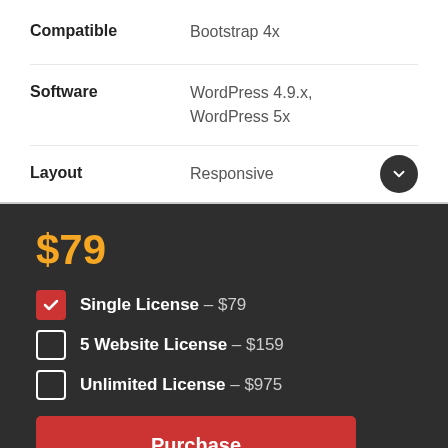| Property | Value |
| --- | --- |
| Compatible | Bootstrap 4x |
| Software | WordPress 4.9.x, WordPress 5x |
| Layout | Responsive |
$79
Single License – $79 (checked)
5 Website License – $159
Unlimited License – $975
Purchase